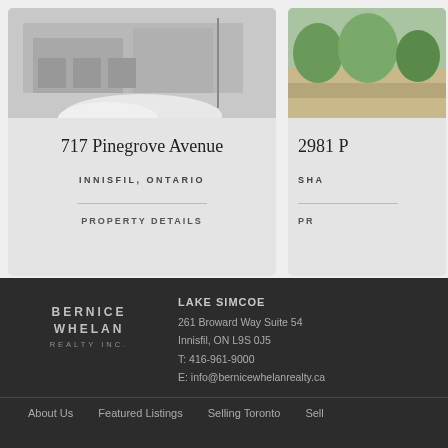[Figure (photo): Property photo of 717 Pinegrove Avenue showing a building with snow in foreground]
717 Pinegrove Avenue
INNISFIL, ONTARIO
PROPERTY DETAILS
[Figure (photo): Aerial or landscape photo of 2981 property showing green trees and aerial view]
2981
SHA
PR
LAKE SIMCOE
261 Broward Way Suite 54
Innisfil, ON L9S 0J5
T: 416-961-9000
E: info@bernicewhelanrealty.ca
About Us  Featured Listings  Selling Toronto  Sell